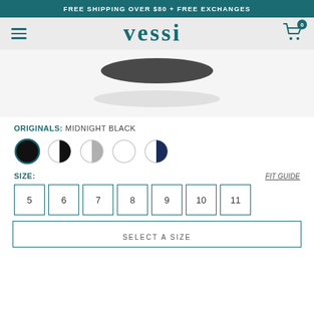FREE SHIPPING OVER $80 + FREE EXCHANGES
[Figure (logo): Vessi brand logo with hamburger menu and shopping cart icon with badge 0]
[Figure (photo): Partial view of a Vessi Originals Midnight Black shoe sole/bottom]
ORIGINALS: MIDNIGHT BLACK
[Figure (other): Five color swatches: solid black (selected), black/white split, gray/white split, solid white, navy/white split]
SIZE:
FIT GUIDE
5  6  7  8  9  10  11
SELECT A SIZE